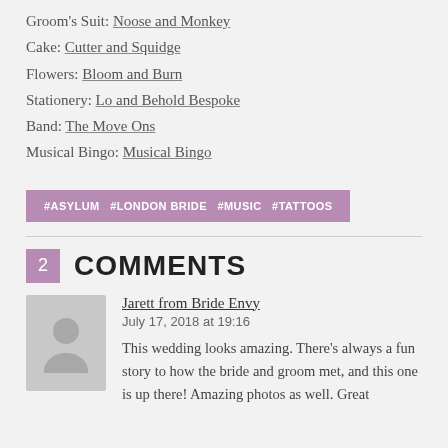Groom's Suit: Noose and Monkey
Cake: Cutter and Squidge
Flowers: Bloom and Burn
Stationery: Lo and Behold Bespoke
Band: The Move Ons
Musical Bingo: Musical Bingo
#ASYLUM  #LONDON BRIDE  #MUSIC  #TATTOOS
2 COMMENTS
Jarett from Bride Envy
July 17, 2018 at 19:16
This wedding looks amazing. There's always a fun story to how the bride and groom met, and this one is up there! Amazing photos as well. Great